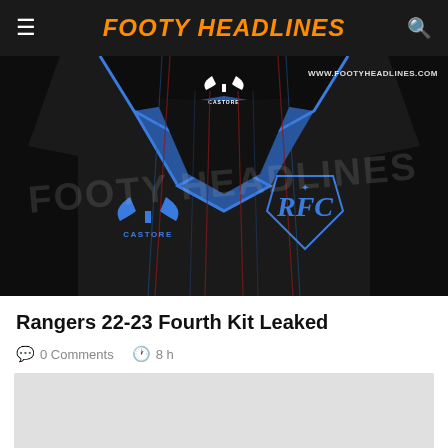FOOTY HEADLINES
[Figure (photo): Rangers 22-23 fourth kit leaked photo showing a black jersey with blue V-neck collar, vertical pinstripes, Castore logo on left chest, and Rangers FC crest on right chest. Watermark: www.footyheadlines.com]
Rangers 22-23 Fourth Kit Leaked
0 Comments   8 h
[Figure (photo): Partially visible second image placeholder (light gray background)]